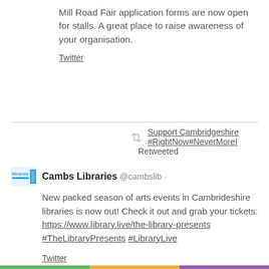Mill Road Fair application forms are now open for stalls. A great place to raise awareness of your organisation.
Twitter
Support Cambridgeshire #RightNow#NeverMoreI Retweeted
Cambs Libraries @cambslib
New packed season of arts events in Cambrideshire libraries is now out! Check it out and grab your tickets: https://www.library.live/the-library-presents #TheLibraryPresents #LibraryLive
Twitter